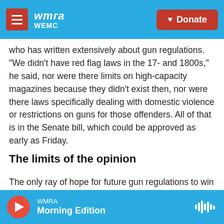wmra WEMC | Donate
who has written extensively about gun regulations. "We didn't have red flag laws in the 17- and 1800s," he said, nor were there limits on high-capacity magazines because they didn't exist then, nor were there laws specifically dealing with domestic violence or restrictions on guns for those offenders. All of that is in the Senate bill, which could be approved as early as Friday.
The limits of the opinion
The only ray of hope for future gun regulations to win approval from the Supreme Court was a
WMRA Morning Edition